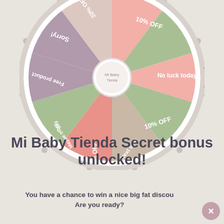[Figure (other): A prize spin wheel with colored segments showing: 20% OFF, (unlabeled), 10% OFF, No luck today, 10% OFF, Next time, 25% OFF, Maybe other day, Free product, Sorry! The wheel has a white border with pin markers around the edge and a center hub. A dark mauve arrow/pointer is visible on the right side.]
Mi Baby Tienda Secret bonus unlocked!
You have a chance to win a nice big fat discount Are you ready?